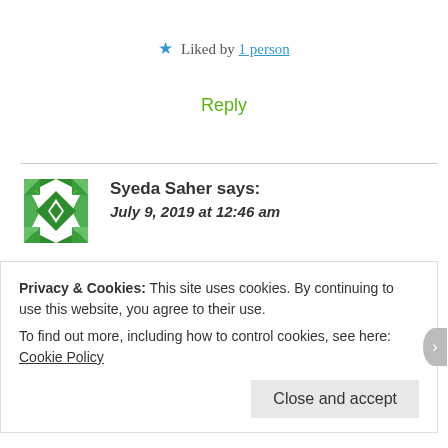★ Liked by 1 person
Reply
Syeda Saher says: July 9, 2019 at 12:46 am
Interesting. I personally love Harry Potter too! Maybe much of my teenage and early twenties I
Privacy & Cookies: This site uses cookies. By continuing to use this website, you agree to their use.
To find out more, including how to control cookies, see here: Cookie Policy
Close and accept